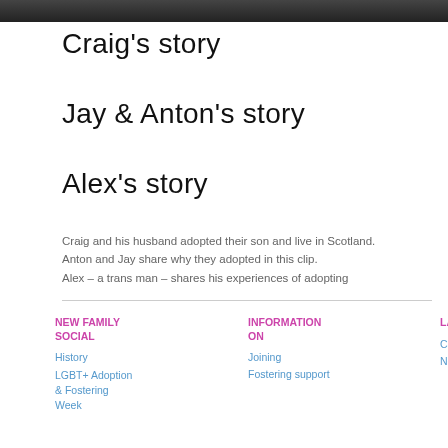[Figure (photo): Partial photo of people at top of page, dark background]
Craig's story
Jay & Anton's story
Alex's story
Craig and his husband adopted their son and live in Scotland. Anton and Jay share why they adopted in this clip. Alex – a trans man – shares his experiences of adopting
NEW FAMILY SOCIAL | INFORMATION ON | LATEST | Contact Us | Terms & Conditions | History | Joining | Competitions | News | LGBT+ Adoption & Fostering Week | Fostering support | TOP